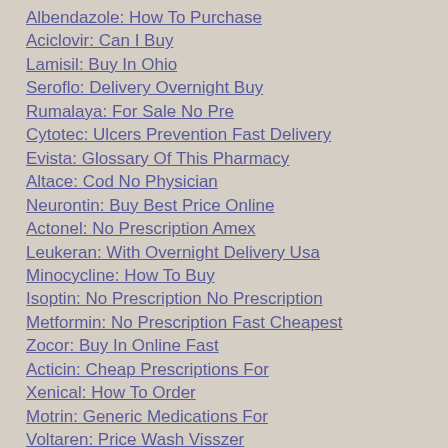Albendazole: How To Purchase
Aciclovir: Can I Buy
Lamisil: Buy In Ohio
Seroflo: Delivery Overnight Buy
Rumalaya: For Sale No Pre
Cytotec: Ulcers Prevention Fast Delivery
Evista: Glossary Of This Pharmacy
Altace: Cod No Physician
Neurontin: Buy Best Price Online
Actonel: No Prescription Amex
Leukeran: With Overnight Delivery Usa
Minocycline: How To Buy
Isoptin: No Prescription No Prescription
Metformin: No Prescription Fast Cheapest
Zocor: Buy In Online Fast
Acticin: Cheap Prescriptions For
Xenical: How To Order
Motrin: Generic Medications For
Voltaren: Price Wash Visszer
Medrol: Price Without Script Fedex
Zestoretic: Generic 200Mg Price